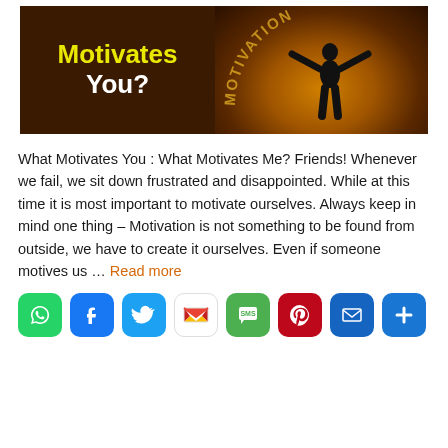[Figure (illustration): Banner image with dark brown background. Left side shows yellow text 'Motivates' and white text 'You?' on dark background. Right side shows a silhouette of a person with arms raised against a glowing orange/golden radial light, with 'MOTIVATION' text arching above in golden color.]
What Motivates You : What Motivates Me? Friends! Whenever we fail, we sit down frustrated and disappointed. While at this time it is most important to motivate ourselves. Always keep in mind one thing – Motivation is not something to be found from outside, we have to create it ourselves. Even if someone motives us … Read more
[Figure (infographic): Social sharing bar with 8 icon buttons: WhatsApp (green), Facebook (blue), Twitter (light blue), Gmail (white with M), SMS (green), Pinterest (red), Email (dark blue envelope), More/Add (blue plus sign).]